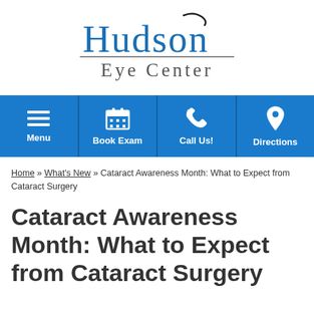[Figure (logo): Hudson Eye Center logo with stylized serif text and decorative curl above the 'o' in Hudson, with 'Eye Center' below separated by a horizontal rule]
[Figure (infographic): Blue navigation bar with four buttons: Menu (hamburger icon), Book Exam (calendar icon), Call Us! (phone icon), Directions (map pin icon)]
Home » What's New » Cataract Awareness Month: What to Expect from Cataract Surgery
Cataract Awareness Month: What to Expect from Cataract Surgery